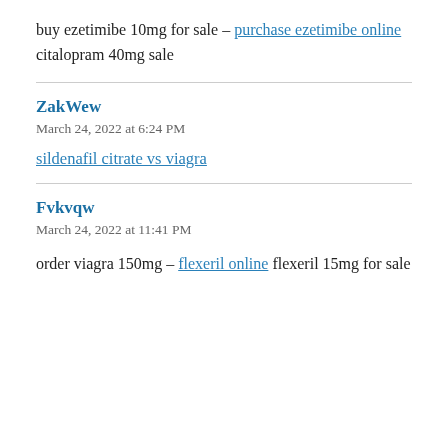buy ezetimibe 10mg for sale – purchase ezetimibe online citalopram 40mg sale
ZakWew
March 24, 2022 at 6:24 PM
sildenafil citrate vs viagra
Fvkvqw
March 24, 2022 at 11:41 PM
order viagra 150mg – flexeril online flexeril 15mg for sale